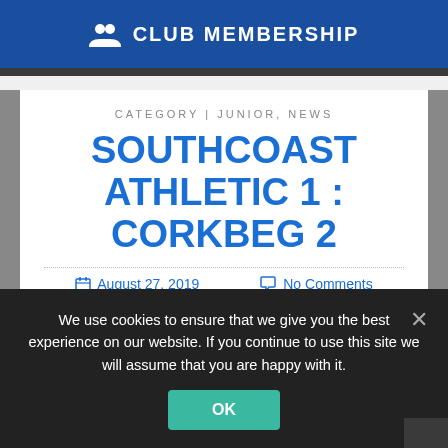CLUB MEMBERSHIP
CATEGORY | JUNIOR, NEWS
SOUTHCOAST ATHLETIC 1 : CORKBEG 2
August 27, 2019  No Comments
We use cookies to ensure that we give you the best experience on our website. If you continue to use this site we will assume that you are happy with it.